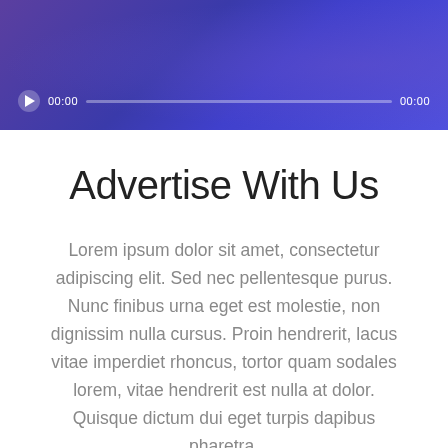[Figure (screenshot): Purple-blue gradient banner with audio player bar showing play button, 00:00 timestamp, progress bar, and 00:00 end time]
Advertise With Us
Lorem ipsum dolor sit amet, consectetur adipiscing elit. Sed nec pellentesque purus. Nunc finibus urna eget est molestie, non dignissim nulla cursus. Proin hendrerit, lacus vitae imperdiet rhoncus, tortor quam sodales lorem, vitae hendrerit est nulla at dolor. Quisque dictum dui eget turpis dapibus pharetra.
BECOME A SPONSOR